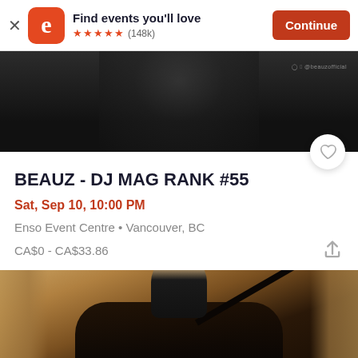[Figure (screenshot): Eventbrite app banner with orange logo, 'Find events you'll love' text, 5 star rating (148k reviews), and orange Continue button]
[Figure (photo): Dark photo of a person (DJ/performer) in black clothing against a black background, partially visible from waist up]
BEAUZ - DJ MAG RANK #55
Sat, Sep 10, 10:00 PM
Enso Event Centre • Vancouver, BC
CA$0 - CA$33.86
[Figure (photo): Young man sitting at a grand piano in an ornate room with wooden/marble decor, wearing a black turtleneck]